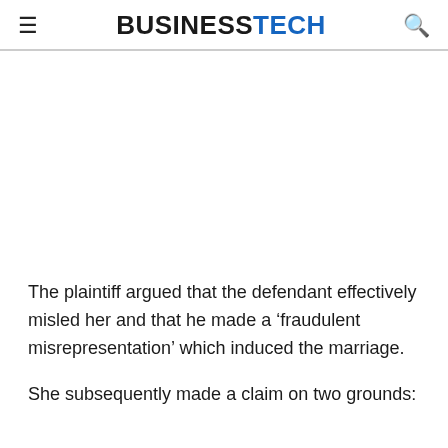BUSINESSTECH
The plaintiff argued that the defendant effectively misled her and that he made a ‘fraudulent misrepresentation’ which induced the marriage.
She subsequently made a claim on two grounds: